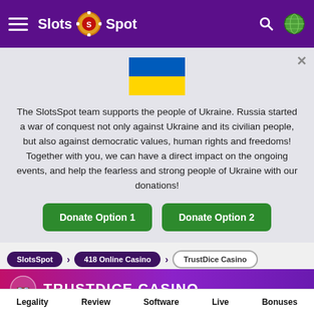Slots Spot
[Figure (illustration): Ukraine flag (blue and yellow horizontal bands)]
The SlotsSpot team supports the people of Ukraine. Russia started a war of conquest not only against Ukraine and its civilian people, but also against democratic values, human rights and freedoms! Together with you, we can have a direct impact on the ongoing events, and help the fearless and strong people of Ukraine with our donations!
Donate Option 1
Donate Option 2
SlotsSpot > 418 Online Casino > TrustDice Casino
TRUSTDICE CASINO
[Figure (logo): TrustDice casino logo — white stylized T and tilde with yellow diamond dice icons on dark purple background, text TRUST DICE in white]
Legality   Review   Software   Live   Bonuses